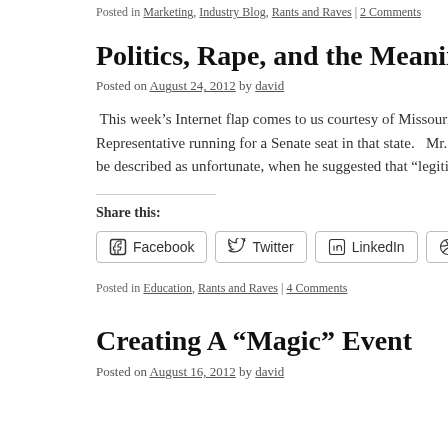Posted in Marketing, Industry Blog, Rants and Raves | 2 Comments
Politics, Rape, and the Meaning of Words
Posted on August 24, 2012 by david
This week's Internet flap comes to us courtesy of Missouri's To Representative running for a Senate seat in that state.  Mr. Akin be described as unfortunate, when he suggested that "legitimate
Share this:
[Figure (other): Social share buttons: Facebook, Twitter, LinkedIn, Pinterest, Reddit]
Posted in Education, Rants and Raves | 4 Comments
Creating A “Magic” Event
Posted on August 16, 2012 by david